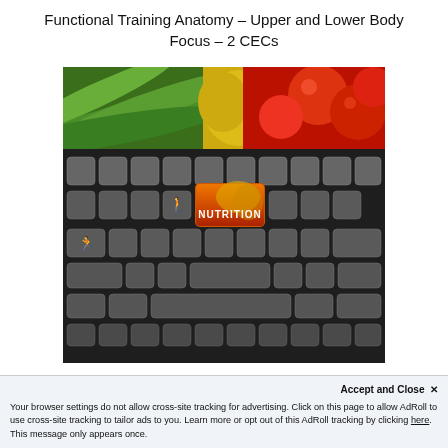Functional Training Anatomy – Upper and Lower Body Focus – 2 CECs
[Figure (photo): Composite image: top half shows colorful vegetables (green beans, yellow peppers, tomatoes); bottom half shows a dark keyboard with running figure icons on keys and one highlighted orange/red key labeled NUTRITION]
Accept and Close ✕
Your browser settings do not allow cross-site tracking for advertising. Click on this page to allow AdRoll to use cross-site tracking to tailor ads to you. Learn more or opt out of this AdRoll tracking by clicking here. This message only appears once.